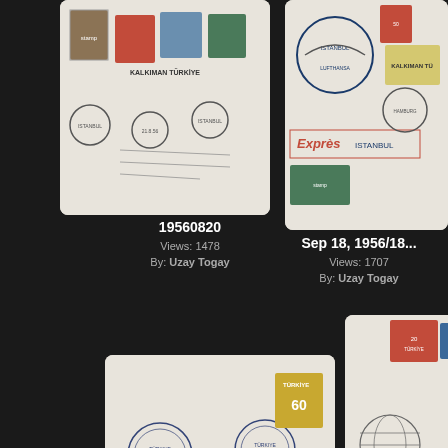[Figure (photo): Philatelic cover with multiple stamps and postmarks, labeled 19560820]
19560820
Views: 1478
By: Uzay Togay
[Figure (photo): Philatelic cover with Lufthansa stamps, Express/Exprès label, labeled Sep 18, 1956/18...]
Sep 18, 1956/18...
Views: 1707
By: Uzay Togay
[Figure (photo): Philatelic cover with circular postmarks and yellow 60 stamp, labeled 19561101]
19561101
Views: 1468
By: Uzay Togay
[Figure (photo): Philatelic cover with red and blue stamps and circular postmark, labeled 19561202]
19561202
Views: 1371
By: Uzay Togay